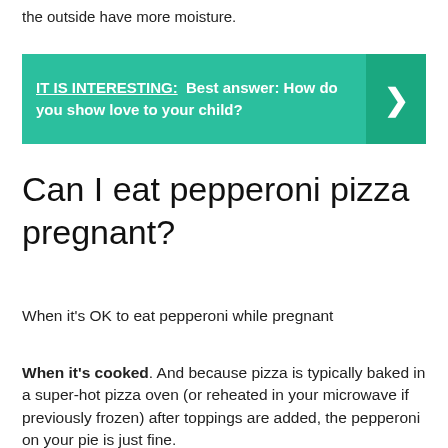the outside have more moisture.
[Figure (infographic): Teal banner with text: IT IS INTERESTING: Best answer: How do you show love to your child? with a right-arrow button on the right side.]
Can I eat pepperoni pizza pregnant?
When it’s OK to eat pepperoni while pregnant
When it’s cooked. And because pizza is typically baked in a super-hot pizza oven (or reheated in your microwave if previously frozen) after toppings are added, the pepperoni on your pie is just fine.